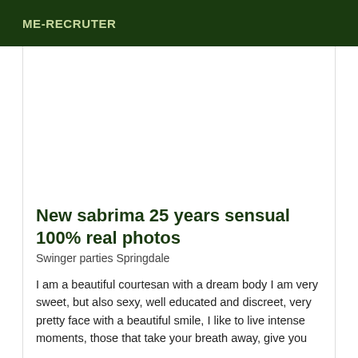ME-RECRUTER
[Figure (photo): Blank/white image placeholder area]
New sabrima 25 years sensual 100% real photos
Swinger parties Springdale
I am a beautiful courtesan with a dream body I am very sweet, but also sexy, well educated and discreet, very pretty face with a beautiful smile, I like to live intense moments, those that take your breath away, give you